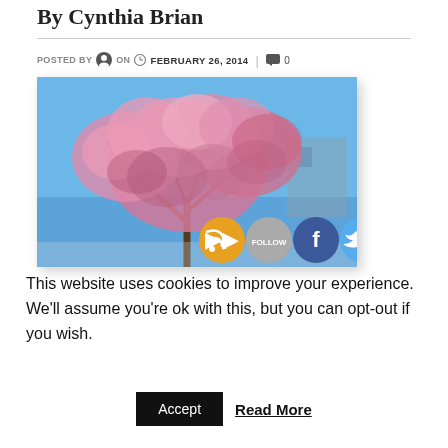By Cynthia Brian
POSTED BY  ON  FEBRUARY 26, 2014  | 0
[Figure (photo): Cherry blossom tree in full pink bloom against a clear blue sky, with social media share icons (RSS, Follow, Facebook, Twitter) overlaid at the bottom right of the image.]
This website uses cookies to improve your experience. We'll assume you're ok with this, but you can opt-out if you wish.
Accept  Read More